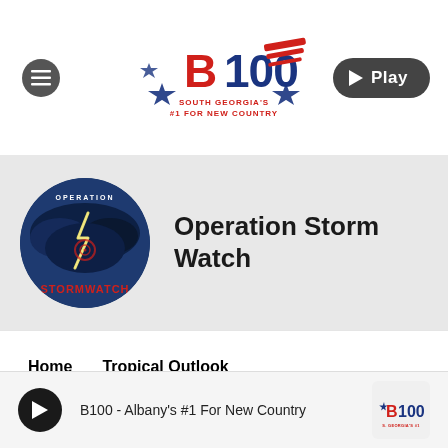[Figure (logo): B100 radio station logo - South Georgia's #1 For New Country, with star and patriotic design]
[Figure (illustration): Operation Storm Watch circular badge - stormy lightning sky background with OPERATION STORMWATCH text]
Operation Storm Watch
Home
Tropical Outlook
B100 - Albany's #1 For New Country